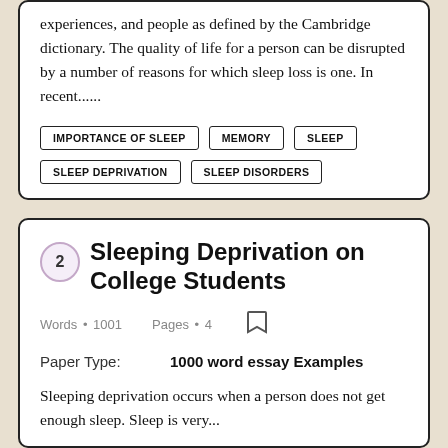experiences, and people as defined by the Cambridge dictionary. The quality of life for a person can be disrupted by a number of reasons for which sleep loss is one. In recent......
IMPORTANCE OF SLEEP
MEMORY
SLEEP
SLEEP DEPRIVATION
SLEEP DISORDERS
2 Sleeping Deprivation on College Students
Words • 1001   Pages • 4
Paper Type:   1000 word essay Examples
Sleeping deprivation occurs when a person does not get enough sleep. Sleep is very...